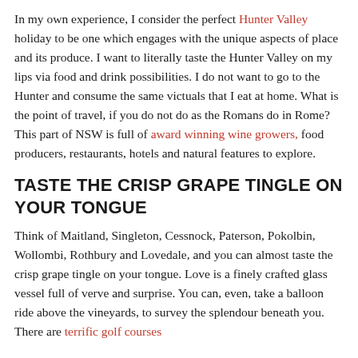In my own experience, I consider the perfect Hunter Valley holiday to be one which engages with the unique aspects of place and its produce. I want to literally taste the Hunter Valley on my lips via food and drink possibilities. I do not want to go to the Hunter and consume the same victuals that I eat at home. What is the point of travel, if you do not do as the Romans do in Rome? This part of NSW is full of award winning wine growers, food producers, restaurants, hotels and natural features to explore.
TASTE THE CRISP GRAPE TINGLE ON YOUR TONGUE
Think of Maitland, Singleton, Cessnock, Paterson, Pokolbin, Wollombi, Rothbury and Lovedale, and you can almost taste the crisp grape tingle on your tongue. Love is a finely crafted glass vessel full of verve and surprise. You can, even, take a balloon ride above the vineyards, to survey the splendour beneath you. There are terrific golf courses